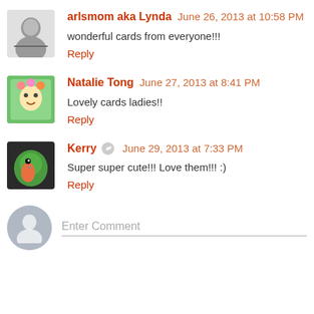arlsmom aka Lynda  June 26, 2013 at 10:58 PM
wonderful cards from everyone!!!
Reply
Natalie Tong  June 27, 2013 at 8:41 PM
Lovely cards ladies!!
Reply
Kerry  June 29, 2013 at 7:33 PM
Super super cute!!! Love them!!! :)
Reply
Enter Comment